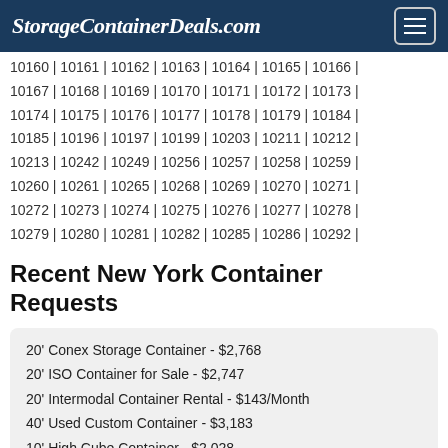StorageContainerDeals.com
10160 | 10161 | 10162 | 10163 | 10164 | 10165 | 10166 | 10167 | 10168 | 10169 | 10170 | 10171 | 10172 | 10173 | 10174 | 10175 | 10176 | 10177 | 10178 | 10179 | 10184 | 10185 | 10196 | 10197 | 10199 | 10203 | 10211 | 10212 | 10213 | 10242 | 10249 | 10256 | 10257 | 10258 | 10259 | 10260 | 10261 | 10265 | 10268 | 10269 | 10270 | 10271 | 10272 | 10273 | 10274 | 10275 | 10276 | 10277 | 10278 | 10279 | 10280 | 10281 | 10282 | 10285 | 10286 | 10292
Recent New York Container Requests
20' Conex Storage Container - $2,768
20' ISO Container for Sale - $2,747
20' Intermodal Container Rental - $143/Month
40' Used Custom Container - $3,183
10' High Cube Container - $2,028
40' Used Custom Storage Container - $3,476
40' Used ISO Cargo Container - $3,166